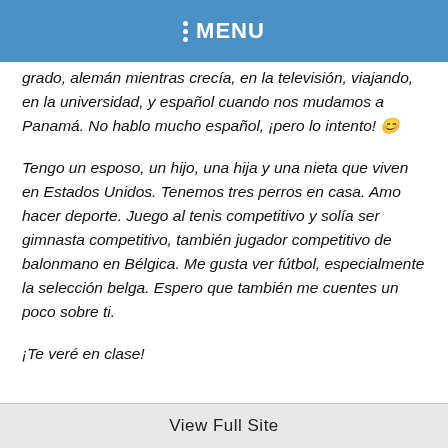MENU
grado, alemán mientras crecía, en la televisión, viajando, en la universidad, y español cuando nos mudamos a Panamá. No hablo mucho español, ¡pero lo intento! 😊
Tengo un esposo, un hijo, una hija y una nieta que viven en Estados Unidos. Tenemos tres perros en casa. Amo hacer deporte. Juego al tenis competitivo y solía ser gimnasta competitivo, también jugador competitivo de balonmano en Bélgica. Me gusta ver fútbol, especialmente la selección belga. Espero que también me cuentes un poco sobre ti.
¡Te veré en clase!
View Full Site